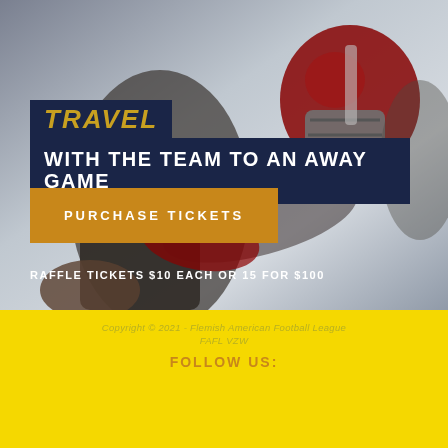[Figure (photo): Football player in red helmet and uniform crouching in action pose against a grey gradient background]
TRAVEL WITH THE TEAM TO AN AWAY GAME
PURCHASE TICKETS
RAFFLE TICKETS $10 EACH OR 15 FOR $100
Copyright © 2021 - Flemish American Football League
FAFL VZW
FOLLOW US:
[Figure (illustration): Facebook and Instagram social media icons]